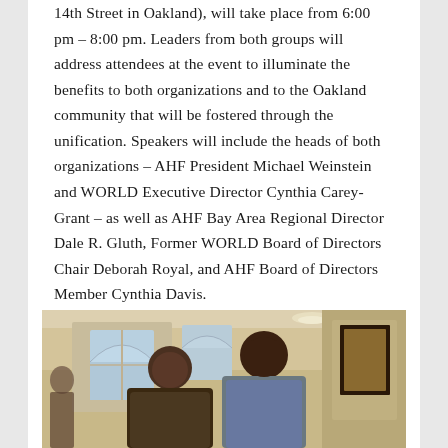14th Street in Oakland), will take place from 6:00 pm – 8:00 pm. Leaders from both groups will address attendees at the event to illuminate the benefits to both organizations and to the Oakland community that will be fostered through the unification. Speakers will include the heads of both organizations – AHF President Michael Weinstein and WORLD Executive Director Cynthia Carey-Grant – as well as AHF Bay Area Regional Director Dale R. Gluth, Former WORLD Board of Directors Chair Deborah Royal, and AHF Board of Directors Member Cynthia Davis.
[Figure (photo): Two people posing together and smiling in what appears to be an indoor event venue with arched windows visible in the background.]